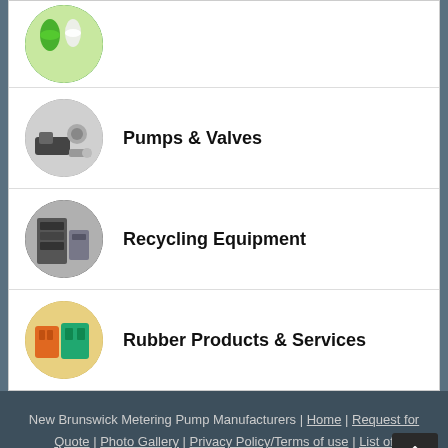[Figure (photo): Partial view of green circular product images at the top of the page (cropped)]
Pumps & Valves
Recycling Equipment
Rubber Products & Services
New Brunswick Metering Pump Manufacturers | Home | Request for Quote | Photo Gallery | Privacy Policy/Terms of use | List of Companies | Sitemap